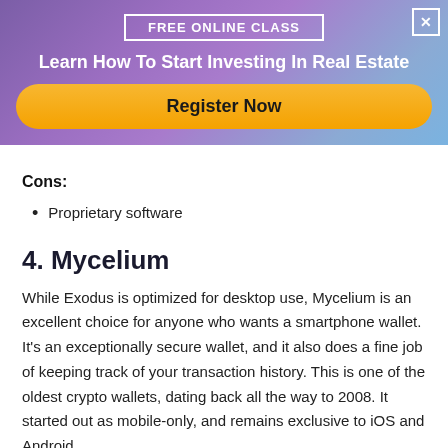[Figure (infographic): Advertisement banner with purple-to-blue gradient background. Contains 'FREE ONLINE CLASS' label in white bordered box, headline 'Learn How To Start Investing In Real Estate' in white bold text, and a yellow 'Register Now' button. A white X close button is in the top right corner.]
Cons:
Proprietary software
4. Mycelium
While Exodus is optimized for desktop use, Mycelium is an excellent choice for anyone who wants a smartphone wallet. It’s an exceptionally secure wallet, and it also does a fine job of keeping track of your transaction history. This is one of the oldest crypto wallets, dating back all the way to 2008. It started out as mobile-only, and remains exclusive to iOS and Android.
The Mycelium app is reproduceable, which means you can copy it and check it against the original to see if it’s been